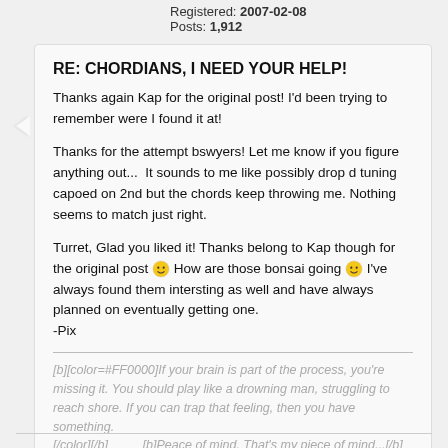Registered: 2007-02-08
Posts: 1,912
RE: CHORDIANS, I NEED YOUR HELP!
Thanks again Kap for the original post! I'd been trying to remember were I found it at!
Thanks for the attempt bswyers! Let me know if you figure anything out...  It sounds to me like possibly drop d tuning capoed on 2nd but the chords keep throwing me. Nothing seems to match just right.
Turret, Glad you liked it! Thanks belong to Kap though for the original post 🙂 How are those bonsai going 🙂 I've always found them intersting as well and have always planned on eventually getting one.
-Pix
[b][color=#FF0000]If your brain is part of the process, you're missing it. You should play like a drowning man, struggling to reach shore. If you can trap that feeling, then you have something. [/color][/b]          [b]Peace of mind. That's my piece of mind...[/b]